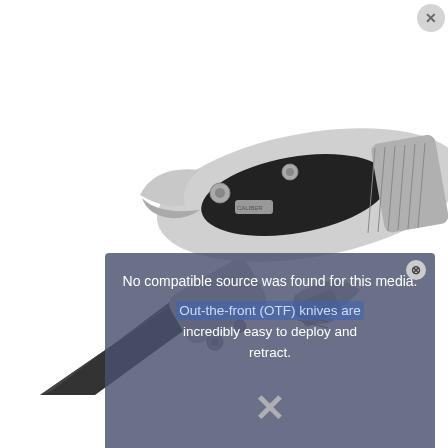[Figure (photo): A multi-tool product photo showing two views of a folding knife/wrench combination tool. The top image shows the tool closed, resembling pliers or a wrench with a silver and black body, ribbed grip, and various mechanical components visible. The bottom image shows the tool open with a black blade deployed and the wrench/adjustable jaw extended. The background is white.]
No compatible source was found for this media.
Out-the-front (OTF) knives are incredibly easy to deploy and retract.